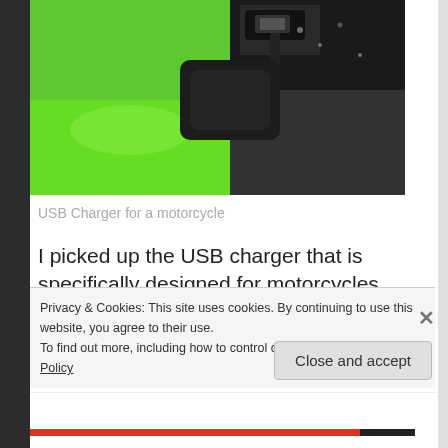[Figure (photo): A USB charger mounted on a green motorcycle, close-up photo showing the charger device and green bodywork.]
USB Charger for a motorcycle
I picked up the USB charger that is specifically designed for motorcycles, from Amazon, for a little over $13. After a
Privacy & Cookies: This site uses cookies. By continuing to use this website, you agree to their use.
To find out more, including how to control cookies, see here: Cookie Policy
Close and accept